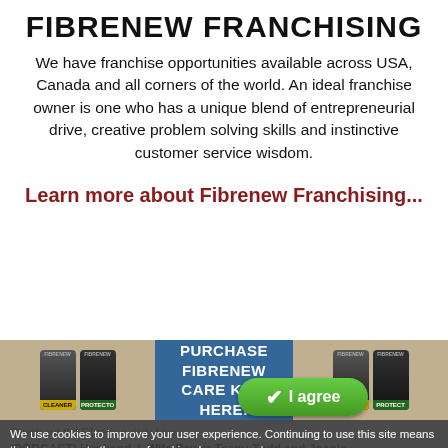FIBRENEW FRANCHISING
We have franchise opportunities available across USA, Canada and all corners of the world. An ideal franchise owner is one who has a unique blend of entrepreneurial drive, creative problem solving skills and instinctive customer service wisdom.
Learn more about Fibrenew Franchising...
[Figure (photo): Banner with Fibrenew product cans (cleaners and protectors) on either side and text 'PURCHASE FIBRENEW CARE KITS HERE!' in the center on a blue background.]
We use cookies to improve your user experience. Continuing to use this site means that you agree to the use of cookies. Learn more | How to change my cookie settings
(PODCAST) Husband & Wife Power Team: Todd and Joanie Penholl...
August 30, 2022: "Thank you for joining us for installment 2 of 6 in a